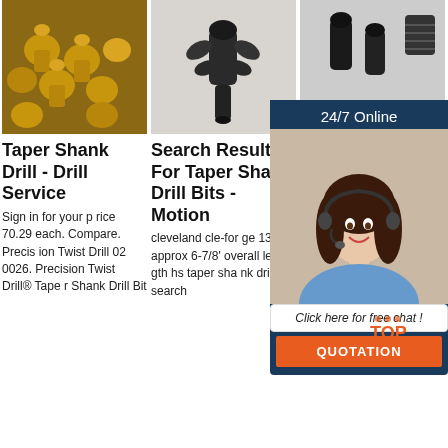[Figure (photo): Multiple golden/bronze taper shank drill bit heads arranged on a surface]
[Figure (photo): Dark metallic taper shank drill bit on white background]
[Figure (photo): Black taper shank drill bits with 24/7 Online chat overlay]
Taper Shank Drill - Drill Service
Search Results For Taper Shank Drill Bits - Motion
Dri Tap Dri
Sign in for your price 70.29 each. Compare. Precision Twist Drill 020026. Precision Twist Drill® Taper Shank Drill Bit
cleveland cle-forge 13/32 approx 6-7/8' overall length hs taper shank drill bit search
Black sh high-speed steel Taper-Shank Drill Bit Sets. The high-speed steel taper-shank drill bits in those sets
[Figure (infographic): 24/7 Online chat overlay with woman wearing headset, Click here for free chat button, QUOTATION button, and TOP logo]